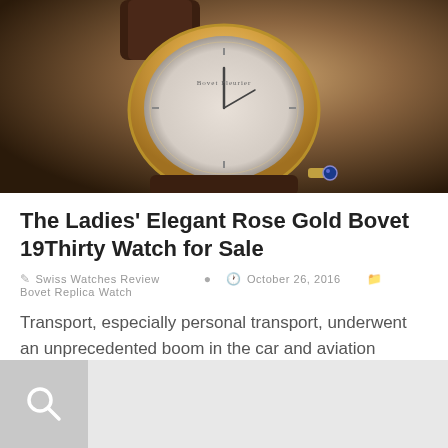[Figure (photo): Close-up photo of a Ladies' Rose Gold Bovet 19Thirty watch with brown leather strap and blue gemstone crown on a blurred warm background.]
The Ladies' Elegant Rose Gold Bovet 19Thirty Watch for Sale
Swiss Watches Review  October 26, 2016  Bovet Replica Watch
Transport, especially personal transport, underwent an unprecedented boom in the car and aviation sectors. Ladies' Elegant Rose Gold Bovet 19Thirty replica Watchmaking changed too. x Bovet 19Thirty 1930s Euro…
[Figure (screenshot): Search bar with magnifying glass icon on grey background.]